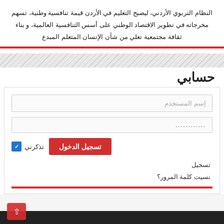النظام التربوي الأردني، ليصبح التعليم في الأردن قيمة تنافسية وطنية، تسهم مخرجاته في تطوير الاقتصاد الوطني على أسس التنافسية العالمية، و بناء ثقافة مجتمعية تعلي من شأن الإنسان المتعلم المبدع
حسابي
إسم المستخدم
...........
تسجيل الدخول
تذكرني
تسجيل
نسيت كلمة المرور؟